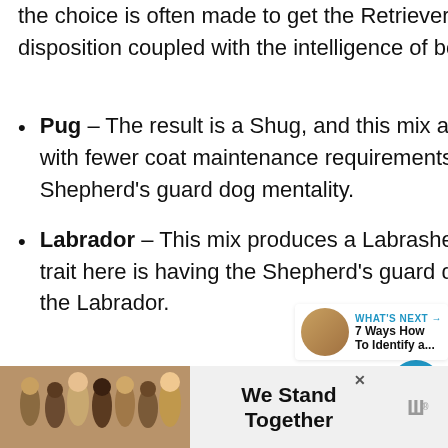the choice is often made to get the Retriever's coat color and affectionate disposition coupled with the intelligence of both parents.
Pug – The result is a Shug, and this mix aims to create a smaller dog with fewer coat maintenance requirements that'll display the German Shepherd's guard dog mentality.
Labrador – This mix produces a Labrashepherd, and the most desirable trait here is having the Shepherd's guard dog tra with the playfulness of the Labrador.
[Figure (screenshot): UI overlay: heart (favorite) button in teal circle, share button, What's Next widget with dog image and text '7 Ways How To Identify a...', and advertisement banner at bottom reading 'We Stand Together' with people image and logo.]